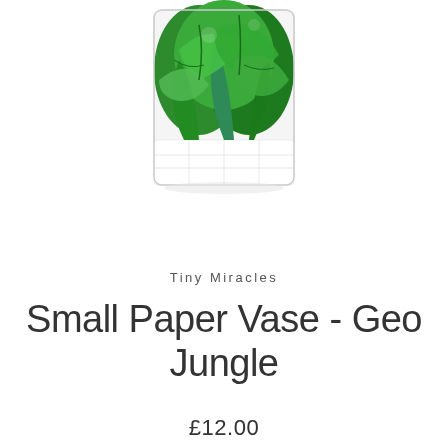[Figure (photo): A small paper vase with a green tropical jungle leaf pattern on a white geometric background. The vase is white/cream at the base, and the upper portions are covered in green palm and monstera leaves.]
Tiny Miracles
Small Paper Vase - Geo Jungle
£12.00